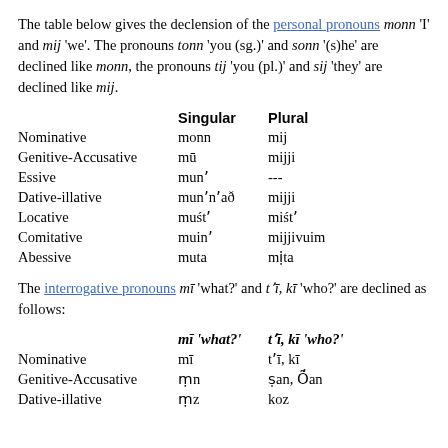The table below gives the declension of the personal pronouns monn 'I' and mij 'we'. The pronouns tonn 'you (sg.)' and sonn '(s)he' are declined like monn, the pronouns tij 'you (pl.)' and sij 'they' are declined like mij.
|  | Singular | Plural |
| --- | --- | --- |
| Nominative | monn | mij |
| Genitive-Accusative | mū | mijji |
| Essive | munʼ | --- |
| Dative-illative | munʼnʼað | mijji |
| Locative | muśtʼ | miśtʼ |
| Comitative | muinʼ | mijjivuim |
| Abessive | muta | miịta |
The interrogative pronouns mī 'what?' and tʼī, kī 'who?' are declined as follows:
|  | mī 'what?' | tʼī, kī 'who?' |
| --- | --- | --- |
| Nominative | mī | tʼī, kī |
| Genitive-Accusative | mịn | ṫan, Ḱan |
| Dative-illative | mịz | koz |